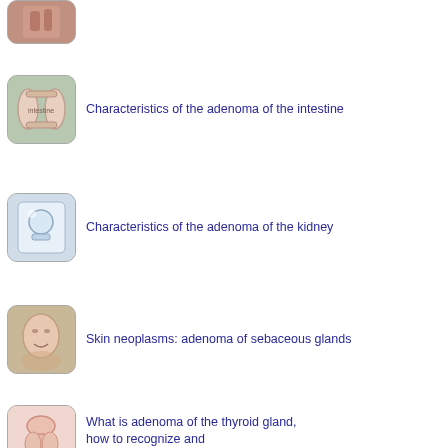[Figure (photo): Thumbnail image (partially visible at top) - medical anatomy image]
Characteristics of the adenoma of the intestine
[Figure (photo): Thumbnail image of intestine anatomy]
Characteristics of the adenoma of the kidney
[Figure (photo): Thumbnail image of kidney/patient]
Skin neoplasms: adenoma of sebaceous glands
[Figure (photo): Thumbnail image of face/skin]
What is adenoma of the thyroid gland, how to recognize and treat?
[Figure (photo): Thumbnail image of thyroid/neck anatomy]
Home / Adenoma / Diagnosis of prostate adenoma